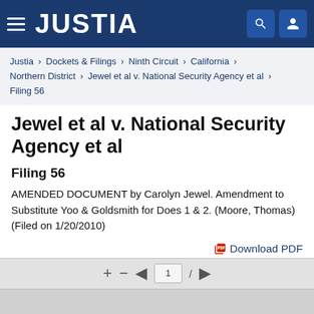JUSTIA
Justia › Dockets & Filings › Ninth Circuit › California › Northern District › Jewel et al v. National Security Agency et al › Filing 56
Jewel et al v. National Security Agency et al
Filing 56
AMENDED DOCUMENT by Carolyn Jewel. Amendment to Substitute Yoo & Goldsmith for Does 1 & 2. (Moore, Thomas) (Filed on 1/20/2010)
Download PDF